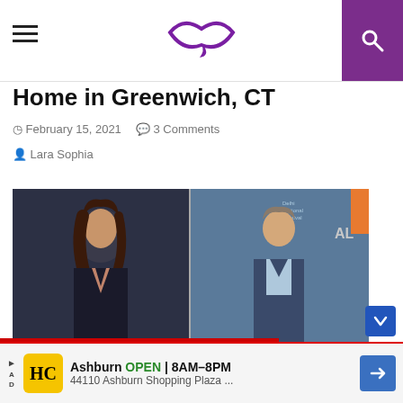Home in Greenwich, CT
February 15, 2021   3 Comments
Lara Sophia
[Figure (photo): Side-by-side photos of a woman in a black satin outfit with a plunging neckline and a man in a blue suit with a light blue shirt, appearing at events.]
Ashburn OPEN 8AM–8PM 44110 Ashburn Shopping Plaza ...